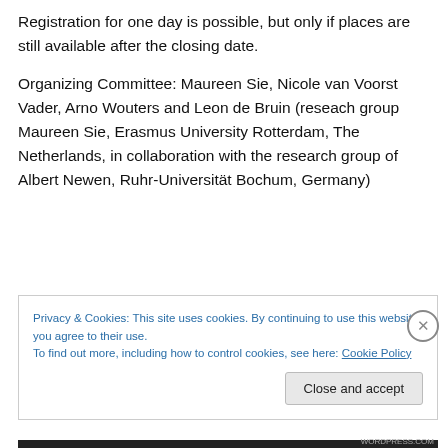Registration for one day is possible, but only if places are still available after the closing date.
Organizing Committee: Maureen Sie, Nicole van Voorst Vader, Arno Wouters and Leon de Bruin (reseach group Maureen Sie, Erasmus University Rotterdam, The Netherlands, in collaboration with the research group of Albert Newen, Ruhr-Universität Bochum, Germany)
Privacy & Cookies: This site uses cookies. By continuing to use this website, you agree to their use.
To find out more, including how to control cookies, see here: Cookie Policy